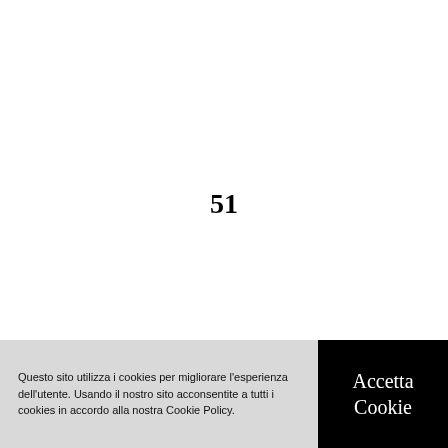51
Questo sito utilizza i cookies per migliorare l'esperienza dell'utente. Usando il nostro sito acconsentite a tutti i cookies in accordo alla nostra Cookie Policy.
Accetta Cookie